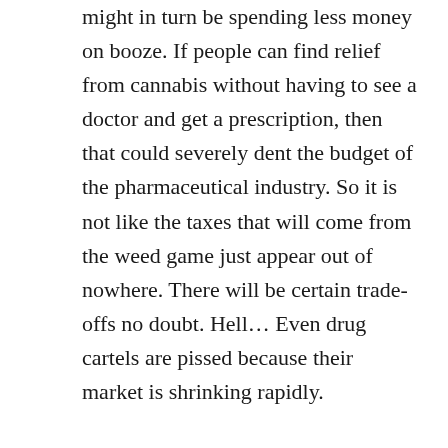might in turn be spending less money on booze. If people can find relief from cannabis without having to see a doctor and get a prescription, then that could severely dent the budget of the pharmaceutical industry. So it is not like the taxes that will come from the weed game just appear out of nowhere. There will be certain trade-offs no doubt. Hell… Even drug cartels are pissed because their market is shrinking rapidly.

The ultimate reality is also that if cannabis were legalized globally today there would be an initial shortage, but over time supply would catch up with demand and prices would continue to fall… meaning your tax revenue would also shrink thus. There will come a day when a good ounce of weed is about $50 and even if they slap a 50% tax on that baby it will still only be $75. We have already begun to see